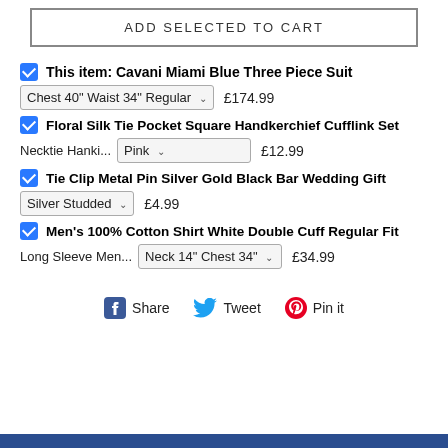ADD SELECTED TO CART
This item: Cavani Miami Blue Three Piece Suit
Chest 40" Waist 34" Regular ∨  £174.99
Floral Silk Tie Pocket Square Handkerchief Cufflink Set
Necktie Hanki...  Pink ∨  £12.99
Tie Clip Metal Pin Silver Gold Black Bar Wedding Gift
Silver Studded ∨  £4.99
Men's 100% Cotton Shirt White Double Cuff Regular Fit
Long Sleeve Men...  Neck 14" Chest 34" ∨  £34.99
Share  Tweet  Pin it